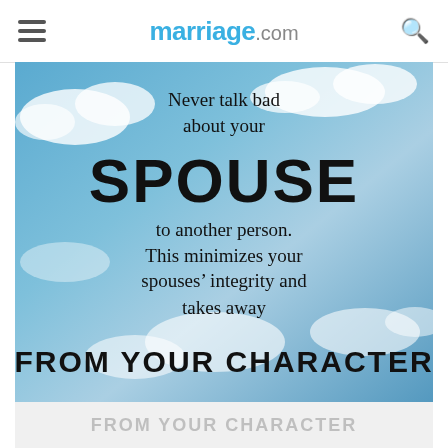marriage.com
[Figure (illustration): Sky background with clouds and motivational quote text overlay: 'Never talk bad about your SPOUSE to another person. This minimizes your spouses' integrity and takes away FROM YOUR CHARACTER']